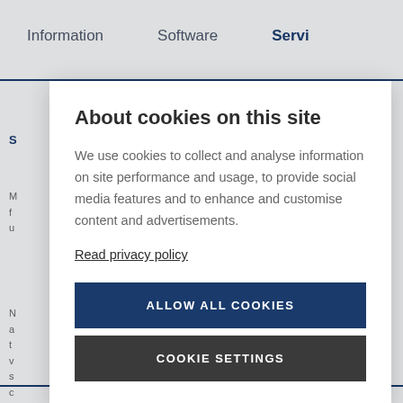Information | Software | Servi
About cookies on this site
We use cookies to collect and analyse information on site performance and usage, to provide social media features and to enhance and customise content and advertisements.
Read privacy policy
ALLOW ALL COOKIES
COOKIE SETTINGS